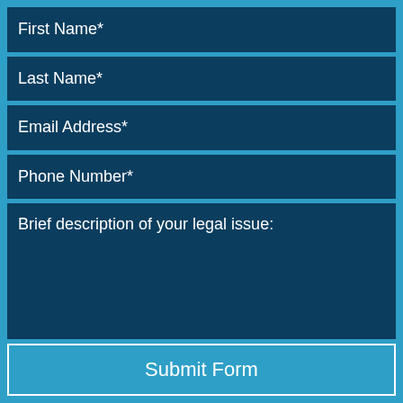First Name*
Last Name*
Email Address*
Phone Number*
Brief description of your legal issue:
Submit Form